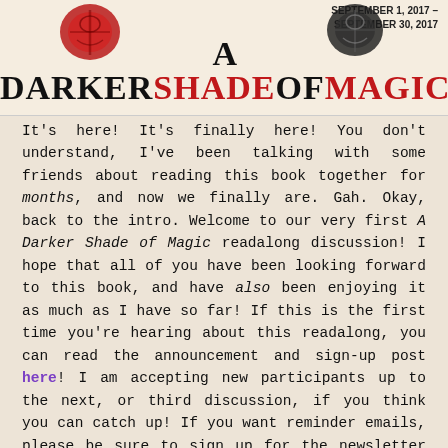[Figure (illustration): Header banner with decorative book/mask stamps on left and right sides, date text top right reading SEPTEMBER 1, 2017 - SEPTEMBER 30, 2017, and large stylized title text A DARKER SHADE OF MAGIC in black and red]
It's here! It's finally here! You don't understand, I've been talking with some friends about reading this book together for months, and now we finally are. Gah. Okay, back to the intro. Welcome to our very first A Darker Shade of Magic readalong discussion! I hope that all of you have been looking forward to this book, and have also been enjoying it as much as I have so far! If this is the first time you're hearing about this readalong, you can read the announcement and sign-up post here! I am accepting new participants up to the next, or third discussion, if you think you can catch up! If you want reminder emails, please be sure to sign up for the newsletter as well (link also provided in the